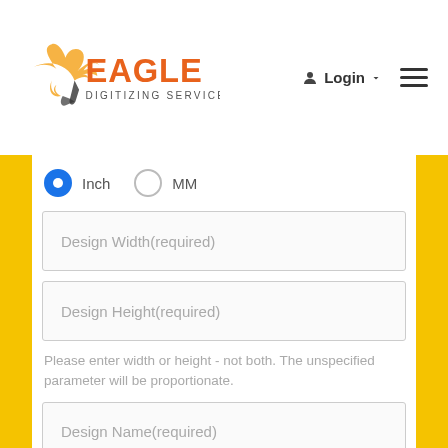[Figure (logo): Eagle Digitizing Services logo with orange eagle and orange/dark text]
Login
Inch  MM (radio buttons)
Design Width(required)
Design Height(required)
Please enter width or height - not both. The unspecified parameter will be proportionate.
Design Name(required)
PO#
Fabric/Material